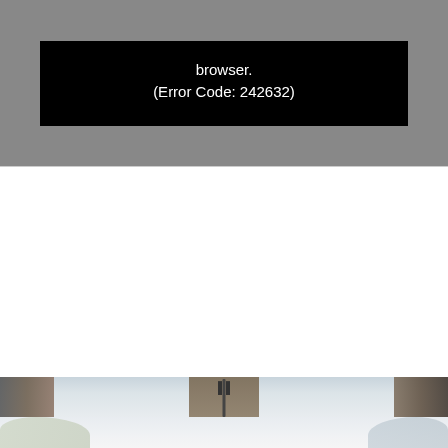[Figure (screenshot): Video player error message on dark/grey background showing black error box with white text: 'browser. (Error Code: 242632)']
[Figure (photo): Partial photo of a table setting with a fork visible in the center, decorative items at the bottom, wooden chairs in the background, light and airy ambiance]